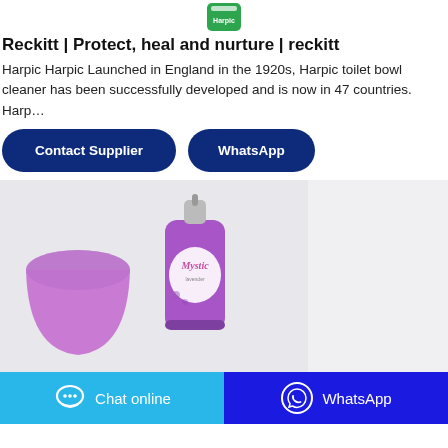[Figure (logo): Green Harpic product can logo at top center]
Reckitt | Protect, heal and nurture | reckitt
Harpic Harpic Launched in England in the 1920s, Harpic toilet bowl cleaner has been successfully developed and is now in 47 countries. Harp…
[Figure (illustration): Two dark navy rounded rectangle buttons: 'Contact Supplier' on the left and 'WhatsApp' on the right]
[Figure (photo): Product photo showing a purple Mystic air freshener spray can with a purple cup cap on a light grey background]
[Figure (infographic): Bottom bar with two buttons: 'Chat online' in cyan/light blue on the left with a chat bubble icon, and 'WhatsApp' in dark blue on the right with a WhatsApp icon]